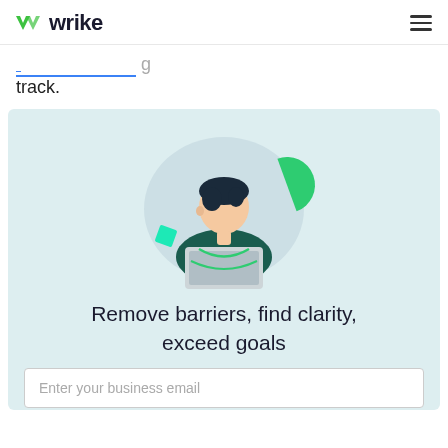wrike
track.
[Figure (illustration): Illustration of a person with dark hair wearing a dark green shirt, working on a laptop, with a light blue circular background, a green semicircle shape top right, and a teal square bottom left.]
Remove barriers, find clarity, exceed goals
Enter your business email